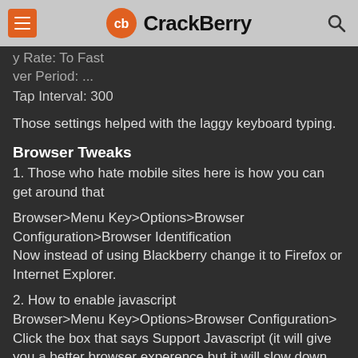CrackBerry
y Rate: To Fast
ver Period: ...
Tap Interval: 300
Those settings helped with the laggy keyboard typing.
Browser Tweaks
1. Those who hate mobile sites here is how you can get around that
Browser>Menu Key>Options>Browser Configuration>Browser Identification
Now instead of using Blackberry change it to Firefox or Internet Explorer.
2. How to enable javascript
Browser>Menu Key>Options>Browser Configuration>
Click the box that says Support Javascript (it will give you a better browser experence but it will slow down the browser)